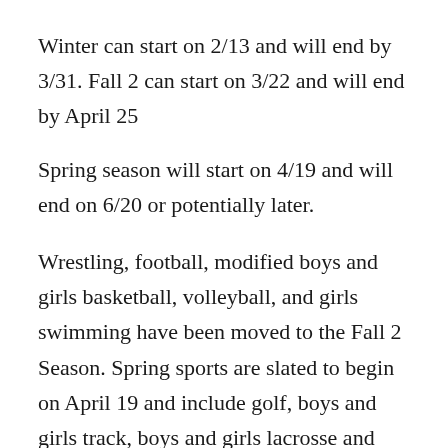Winter can start on 2/13 and will end by 3/31. Fall 2 can start on 3/22 and will end by April 25
Spring season will start on 4/19 and will end on 6/20 or potentially later.
Wrestling, football, modified boys and girls basketball, volleyball, and girls swimming have been moved to the Fall 2 Season. Spring sports are slated to begin on April 19 and include golf, boys and girls track, boys and girls lacrosse and